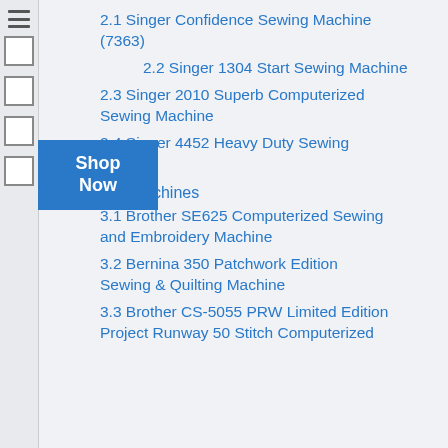2.1 Singer Confidence Sewing Machine (7363)
2.2 Singer 1304 Start Sewing Machine
2.3 Singer 2010 Superb Computerized Sewing Machine
2.4 Singer 4452 Heavy Duty Sewing Machine
3 Specialty machines
3.1 Brother SE625 Computerized Sewing and Embroidery Machine
3.2 Bernina 350 Patchwork Edition Sewing & Quilting Machine
3.3 Brother CS-5055 PRW Limited Edition Project Runway 50 Stitch Computerized